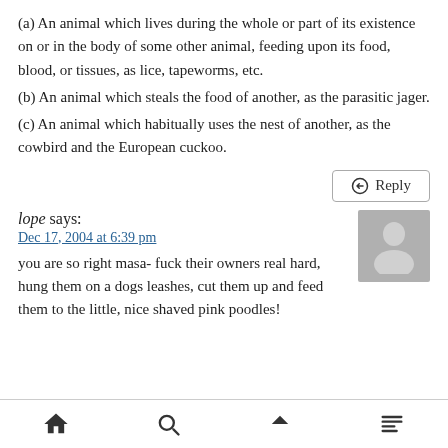(a) An animal which lives during the whole or part of its existence on or in the body of some other animal, feeding upon its food, blood, or tissues, as lice, tapeworms, etc.
(b) An animal which steals the food of another, as the parasitic jager.
(c) An animal which habitually uses the nest of another, as the cowbird and the European cuckoo.
Reply
lope says:
Dec 17, 2004 at 6:39 pm
you are so right masa- fuck their owners real hard, hung them on a dogs leashes, cut them up and feed them to the little, nice shaved pink poodles!